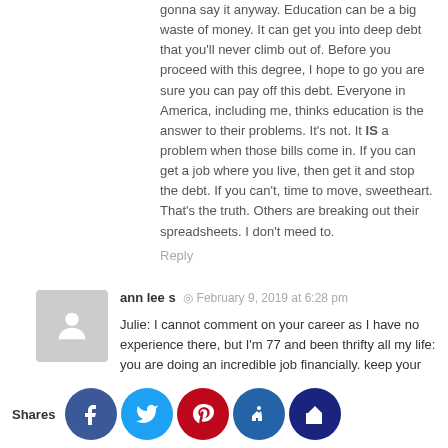gonna say it anyway. Education can be a big waste of money. It can get you into deep debt that you'll never climb out of. Before you proceed with this degree, I hope to go you are sure you can pay off this debt. Everyone in America, including me, thinks education is the answer to their problems. It's not. It IS a problem when those bills come in. If you can get a job where you live, then get it and stop the debt. If you can't, time to move, sweetheart. That's the truth. Others are breaking out their spreadsheets. I don't meed to.
Reply
ann lee s · February 9, 2019 at 6:28 pm
Julie: I cannot comment on your career as I have no experience there, but I'm 77 and been thrifty all my life: you are doing an incredible job financially. keep your nest egg and your car, try to pay off your lowest debt then use that money to work on the next highest debt. Yes, snowball works. try to pry out a bit of money to increase your food money, you need a bit more for variation and special treats, even $10 month at first will provide some change here. go back to your core: you're your ancestry. Thrift.
Shares